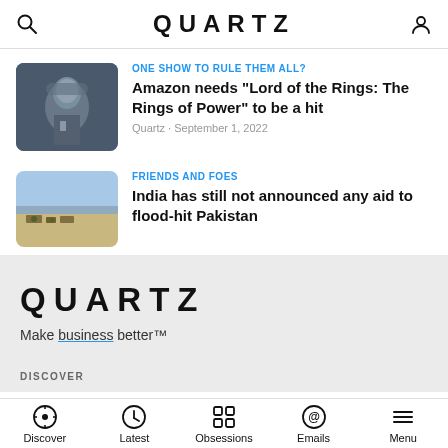QUARTZ
ONE SHOW TO RULE THEM ALL?
Amazon needs "Lord of the Rings: The Rings of Power" to be a hit
Quartz · September 1, 2022
FRIENDS AND FOES
India has still not announced any aid to flood-hit Pakistan
QUARTZ
Make business better™
DISCOVER
Discover  Latest  Obsessions  Emails  Menu